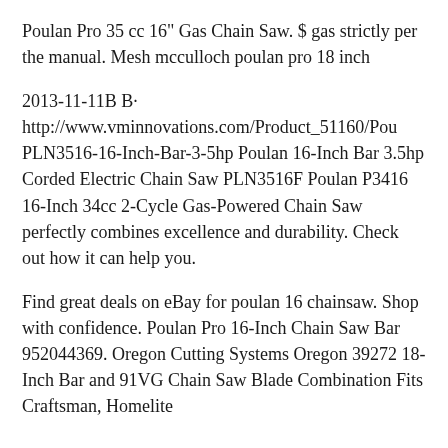Poulan Pro 35 cc 16" Gas Chain Saw. $ gas strictly per the manual. Mesh mcculloch poulan pro 18 inch
2013-11-11B B· http://www.vminnovations.com/Product_51160/Pou PLN3516-16-Inch-Bar-3-5hp Poulan 16-Inch Bar 3.5hp Corded Electric Chain Saw PLN3516F Poulan P3416 16-Inch 34cc 2-Cycle Gas-Powered Chain Saw perfectly combines excellence and durability. Check out how it can help you.
Find great deals on eBay for poulan 16 chainsaw. Shop with confidence. Poulan Pro 16-Inch Chain Saw Bar 952044369. Oregon Cutting Systems Oregon 39272 18-Inch Bar and 91VG Chain Saw Blade Combination Fits Craftsman, Homelite